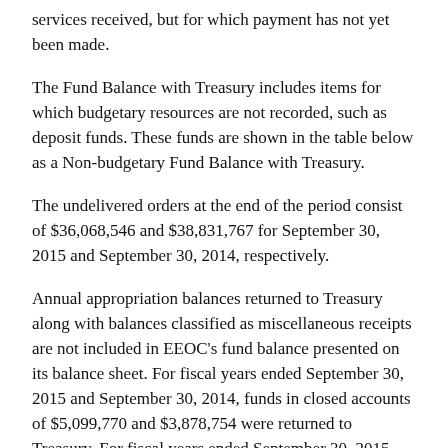services received, but for which payment has not yet been made.
The Fund Balance with Treasury includes items for which budgetary resources are not recorded, such as deposit funds. These funds are shown in the table below as a Non-budgetary Fund Balance with Treasury.
The undelivered orders at the end of the period consist of $36,068,546 and $38,831,767 for September 30, 2015 and September 30, 2014, respectively.
Annual appropriation balances returned to Treasury along with balances classified as miscellaneous receipts are not included in EEOC's fund balance presented on its balance sheet. For fiscal years ended September 30, 2015 and September 30, 2014, funds in closed accounts of $5,099,770 and $3,878,754 were returned to Treasury. For fiscal years ended September 30, 2015 and September 30,